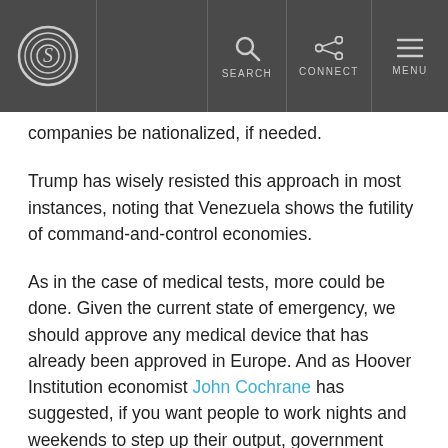S | SEARCH | CONNECT | MENU
companies be nationalized, if needed.
Trump has wisely resisted this approach in most instances, noting that Venezuela shows the futility of command-and-control economies.
As in the case of medical tests, more could be done. Given the current state of emergency, we should approve any medical device that has already been approved in Europe. And as Hoover Institution economist John Cochrane has suggested, if you want people to work nights and weekends to step up their output, government should be willing to chip in and make it worth their while.